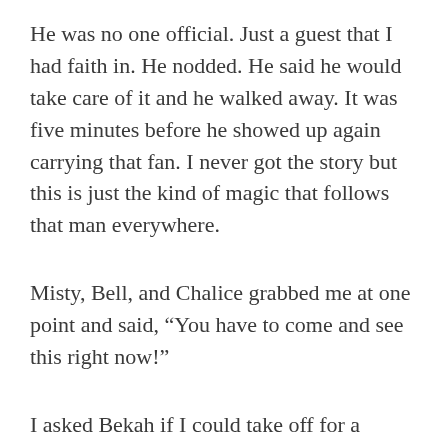He was no one official. Just a guest that I had faith in. He nodded. He said he would take care of it and he walked away. It was five minutes before he showed up again carrying that fan. I never got the story but this is just the kind of magic that follows that man everywhere.
Misty, Bell, and Chalice grabbed me at one point and said, “You have to come and see this right now!”
I asked Bekah if I could take off for a moment and she said yeah, they were doing family photos and bridesmaids photos and I had time. I ran off and this group of people took me to see the Crystal